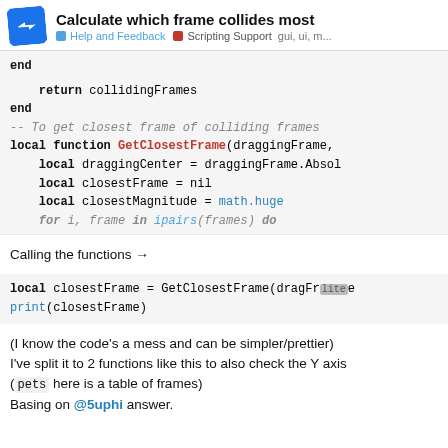Calculate which frame collides most — Help and Feedback | Scripting Support gui, ui, m...
[Figure (screenshot): Code block showing Lua code: end, return collidingFrames, end, -- To get closest frame of colliding frames, local function GetClosestFrame(draggingFrame, ...), local draggingCenter = draggingFrame.Absol..., local closestFrame = nil, local closestMagnitude = math.huge, for i, frame in ipairs(frames) do]
Calling the functions →
[Figure (screenshot): Code block: local closestFrame = GetClosestFrame(dragFr... print(closestFrame)]
(I know the code's a mess and can be simpler/prettier)
I've split it to 2 functions like this to also check the Y axis
(pets here is a table of frames)
Basing on @5uphi answer.